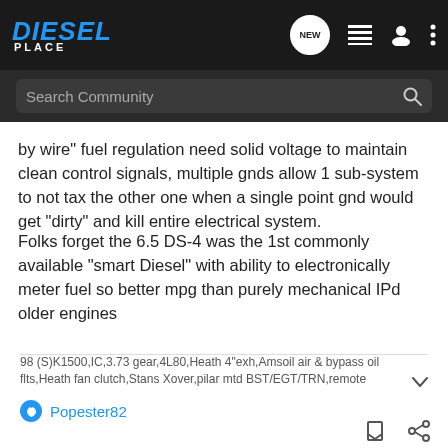Diesel Place — Search Community
by wire" fuel regulation need solid voltage to maintain clean control signals, multiple gnds allow 1 sub-system to not tax the other one when a single point gnd would get "dirty" and kill entire electrical system.
Folks forget the 6.5 DS-4 was the 1st commonly available "smart Diesel" with ability to electronically meter fuel so better mpg than purely mechanical IPd older engines
98 (S)K1500,IC,3.73 gear,4L80,Heath 4"exh,Amsoil air & bypass oil flts,Heath fan clutch,Stans Xover,pilar mtd BST/EGT/TRN,remote
Popester82